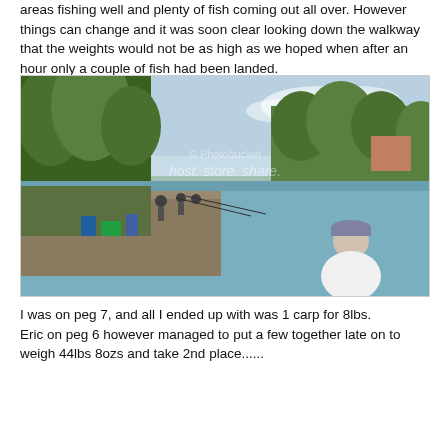areas fishing well and plenty of fish coming out all over. However things can change and it was soon clear looking down the walkway that the weights would not be as high as we hoped when after an hour only a couple of fish had been landed.
[Figure (photo): Outdoor fishing scene at a lake or reservoir. Multiple anglers are seated along a wooden walkway/jetty on the left bank, with fishing rods extended over the water. Trees line the bank. A man in a white shirt and cap is visible in the foreground right, fishing. Water and distant shoreline visible in background. Watermark text overlaid on image.]
I was on peg 7, and all I ended up with was 1 carp for 8lbs.
Eric on peg 6 however managed to put a few together late on to weigh 44lbs 8ozs and take 2nd place......